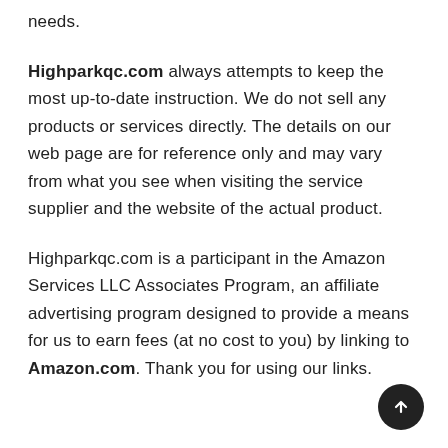needs.
Highparkqc.com always attempts to keep the most up-to-date instruction. We do not sell any products or services directly. The details on our web page are for reference only and may vary from what you see when visiting the service supplier and the website of the actual product.
Highparkqc.com is a participant in the Amazon Services LLC Associates Program, an affiliate advertising program designed to provide a means for us to earn fees (at no cost to you) by linking to Amazon.com. Thank you for using our links.